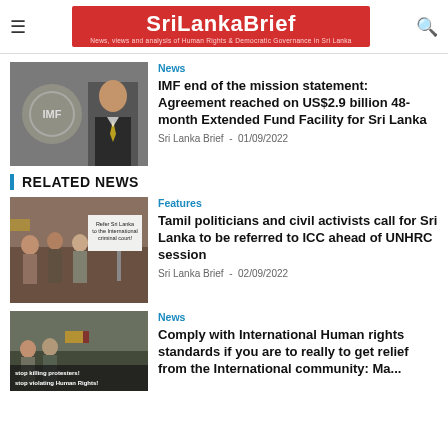SriLankaBrief — News, views and analysis of Human Rights & Democratic Governance in Sri Lanka
[Figure (photo): IMF logo and Sri Lankan official in suit]
News
IMF end of the mission statement: Agreement reached on US$2.9 billion 48-month Extended Fund Facility for Sri Lanka
Sri Lanka Brief  -  01/09/2022
RELATED NEWS
[Figure (photo): Protesters holding sign reading Refer Sri Lanka to the International criminal court]
Features
Tamil politicians and civil activists call for Sri Lanka to be referred to ICC ahead of UNHRC session
Sri Lanka Brief  -  02/09/2022
[Figure (photo): Protesters with sign reading stop killing protesters! stop violating Human Rights!]
News
Comply with International Human rights standards if you are to really to get relief from the International community: Ma...